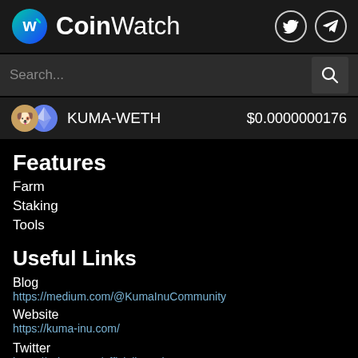CoinWatch
Search...
KUMA-WETH  $0.0000000176
Features
Farm
Staking
Tools
Useful Links
Blog
https://medium.com/@KumaInuCommunity
Website
https://kuma-inu.com/
Twitter
https://twitter.com/officialkumainu
Reddit